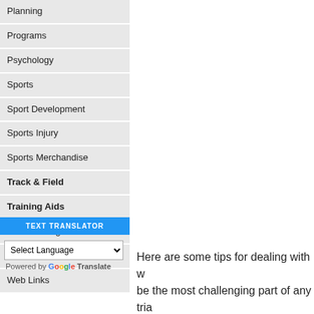Planning
Programs
Psychology
Sports
Sport Development
Sports Injury
Sports Merchandise
Track & Field
Training Aids
Website Blog
Website Information
Web Links
TEXT TRANSLATOR
Select Language
Powered by Google Translate
Here are some tips for dealing with w... be the most challenging part of any tria...